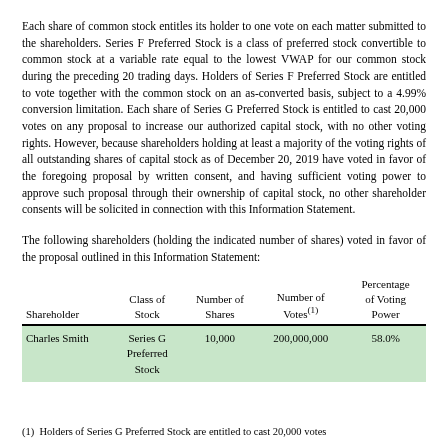Each share of common stock entitles its holder to one vote on each matter submitted to the shareholders. Series F Preferred Stock is a class of preferred stock convertible to common stock at a variable rate equal to the lowest VWAP for our common stock during the preceding 20 trading days. Holders of Series F Preferred Stock are entitled to vote together with the common stock on an as-converted basis, subject to a 4.99% conversion limitation. Each share of Series G Preferred Stock is entitled to cast 20,000 votes on any proposal to increase our authorized capital stock, with no other voting rights. However, because shareholders holding at least a majority of the voting rights of all outstanding shares of capital stock as of December 20, 2019 have voted in favor of the foregoing proposal by written consent, and having sufficient voting power to approve such proposal through their ownership of capital stock, no other shareholder consents will be solicited in connection with this Information Statement.
The following shareholders (holding the indicated number of shares) voted in favor of the proposal outlined in this Information Statement:
| Shareholder | Class of Stock | Number of Shares | Number of Votes(1) | Percentage of Voting Power |
| --- | --- | --- | --- | --- |
| Charles Smith | Series G Preferred Stock | 10,000 | 200,000,000 | 58.0% |
(1) Holders of Series G Preferred Stock are entitled to cast 20,000 votes